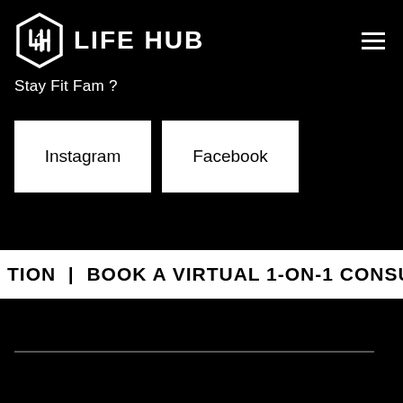[Figure (logo): Life Hub logo: hexagonal badge with stylized L/H monogram, white on black, followed by bold white text LIFE HUB]
Stay Fit Fam ?
Instagram
Facebook
TION  |  BOOK A VIRTUAL 1-ON-1 CONSULTATION  |